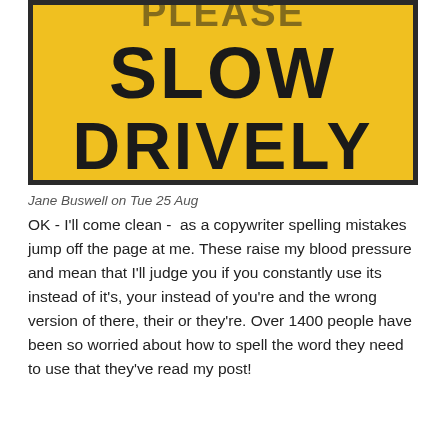[Figure (photo): A yellow diamond-shaped road sign with black text reading 'PLEASE SLOW DRIVELY' — the top word 'PLEASE' is partially cut off. The sign has a black border.]
Jane Buswell on Tue 25 Aug
OK - I'll come clean -  as a copywriter spelling mistakes jump off the page at me. These raise my blood pressure and mean that I'll judge you if you constantly use its instead of it's, your instead of you're and the wrong version of there, their or they're. Over 1400 people have been so worried about how to spell the word they need to use that they've read my post!